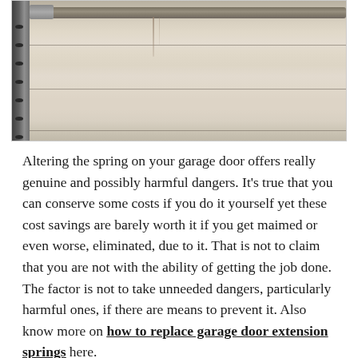[Figure (photo): Close-up photograph of a garage door spring mechanism mounted at the top of a garage door, showing the horizontal spring rod and vertical metal track on the left side with bolt holes, and the beige/cream colored garage door panels below]
Altering the spring on your garage door offers really genuine and possibly harmful dangers. It's true that you can conserve some costs if you do it yourself yet these cost savings are barely worth it if you get maimed or even worse, eliminated, due to it. That is not to claim that you are not with the ability of getting the job done. The factor is not to take unneeded dangers, particularly harmful ones, if there are means to prevent it. Also know more on how to replace garage door extension springs here.